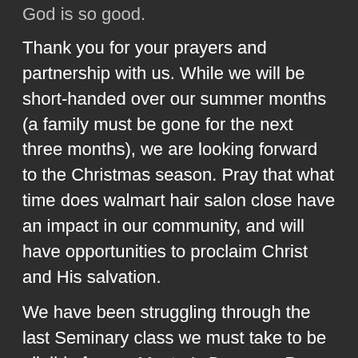God is so good.
Thank you for your prayers and partnership with us. While we will be short-handed over our summer months (a family must be gone for the next three months), we are looking forward to the Christmas season. Pray that what time does walmart hair salon close have an impact in our community, and will have opportunities to proclaim Christ and His salvation.
We have been struggling through the last Seminary class we must take to be eligible for our Master's Degrees. Pray that we will persevere. Less than two months before we must complete the class.
Only five more teaching weeks for Scripture classes this year, and then there will be an end-of-year program. Pray that Barb will choose carefully the lessons to teach and the children will listen well. Pray for children's hearts to be changed.